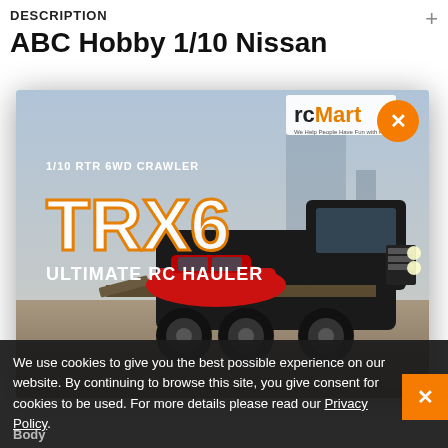DESCRIPTION
ABC Hobby 1/10 Nissan
[Figure (photo): RC Mart advertisement showing TRX6 1/10 RTR 6WD Crawler Ultimate RC Hauler — a black 6-wheel drive RC truck carrying a red sports car on a flatbed, with orange close button overlay]
We use cookies to give you the best possible experience on our website. By continuing to browse this site, you give consent for cookies to be used. For more details please read our Privacy Policy.
Body